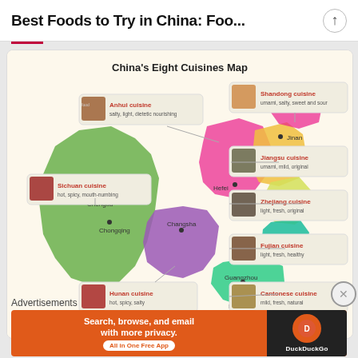Best Foods to Try in China: Foo...
[Figure (map): China's Eight Cuisines Map showing regions color-coded with callout labels for Anhui cuisine (salty, light, dietetic nourishing), Shandong cuisine (umami, salty, sweet and sour), Sichuan cuisine (hot, spicy, mouth-numbing), Jiangsu cuisine (umami, mild, original), Zhejiang cuisine (light, fresh, original), Fujian cuisine (light, fresh, healthy), Hunan cuisine (hot, spicy, salty), Cantonese cuisine (mild, fresh, natural). Cities labeled: Jinan, Nanjing, Hefei, Hangzhou, Chengdu, Chongqing, Changsha, Xiamen, Guangzhou, Hong Kong.]
Advertisements
[Figure (screenshot): DuckDuckGo advertisement banner: 'Search, browse, and email with more privacy. All in One Free App' with DuckDuckGo logo on dark background]